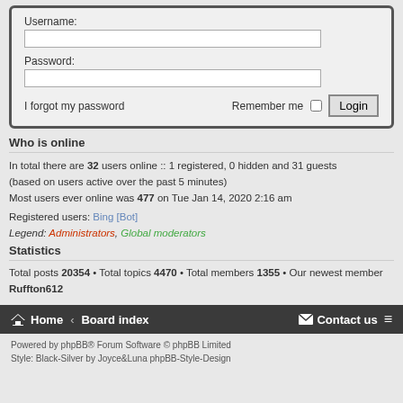[Figure (screenshot): Login form with Username and Password fields, 'I forgot my password' link, Remember me checkbox, and Login button]
Who is online
In total there are 32 users online :: 1 registered, 0 hidden and 31 guests (based on users active over the past 5 minutes)
Most users ever online was 477 on Tue Jan 14, 2020 2:16 am
Registered users: Bing [Bot]
Legend: Administrators, Global moderators
Statistics
Total posts 20354 • Total topics 4470 • Total members 1355 • Our newest member Ruffton612
Home · Board index   Contact us
Powered by phpBB® Forum Software © phpBB Limited
Style: Black-Silver by Joyce&Luna phpBB-Style-Design